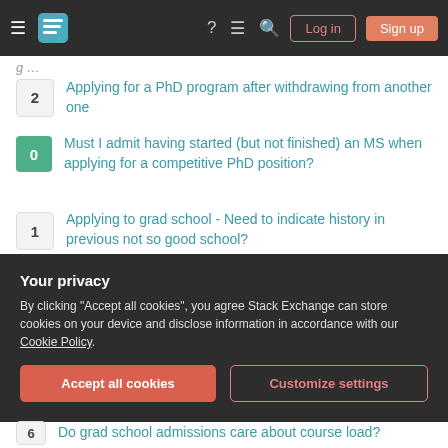[Figure (screenshot): Stack Exchange navigation bar with hamburger menu, logo, help, chat, search icons, Log in and Sign up buttons]
2  Applying for a PhD program after withdrawing from another one
0  Must I admit having started (but not finished) an MS when applying for a competitive PhD position?
1  Applying to grad school - Need to indicate history in previous not so good school?
Related
3  May additional time in college harm my chances of going to grad school?
10  delaying Phd application to publish in order to get accepted at a
Your privacy
By clicking "Accept all cookies", you agree Stack Exchange can store cookies on your device and disclose information in accordance with our Cookie Policy.
6  Do grad school admissions care about course load?